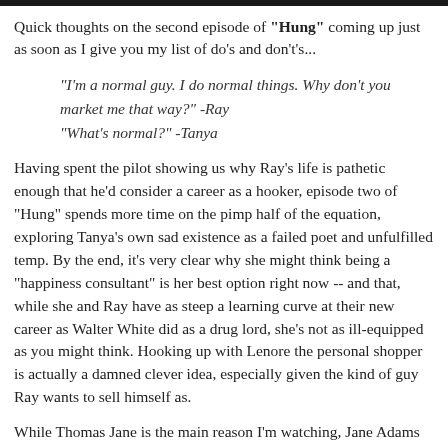[Figure (photo): Top portion of an image, cropped, showing a dark scene from the TV show Hung]
Quick thoughts on the second episode of "Hung" coming up just as soon as I give you my list of do's and don't's...
"I'm a normal guy. I do normal things. Why don't you market me that way?" -Ray
"What's normal?" -Tanya
Having spent the pilot showing us why Ray's life is pathetic enough that he'd consider a career as a hooker, episode two of "Hung" spends more time on the pimp half of the equation, exploring Tanya's own sad existence as a failed poet and unfulfilled temp. By the end, it's very clear why she might think being a "happiness consultant" is her best option right now -- and that, while she and Ray have as steep a learning curve at their new career as Walter White did as a drug lord, she's not as ill-equipped as you might think. Hooking up with Lenore the personal shopper is actually a damned clever idea, especially given the kind of guy Ray wants to sell himself as.
While Thomas Jane is the main reason I'm watching, Jane Adams is a delight of fascinating, almost comic, both the